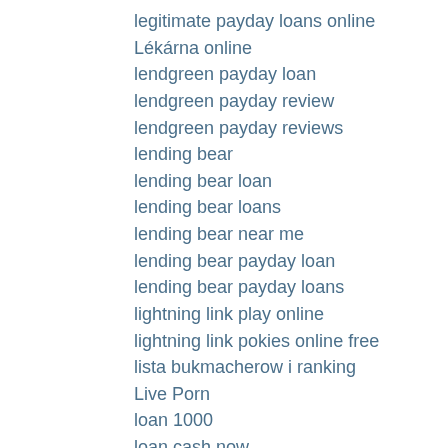legitimate payday loans online
Lékárna online
lendgreen payday loan
lendgreen payday review
lendgreen payday reviews
lending bear
lending bear loan
lending bear loans
lending bear near me
lending bear payday loan
lending bear payday loans
lightning link play online
lightning link pokies online free
lista bukmacherow i ranking
Live Porn
loan 1000
loan cash now
loan for 1000 dollars
loan near me
loan now
loan oklahoma city
loan places open today
loan pm